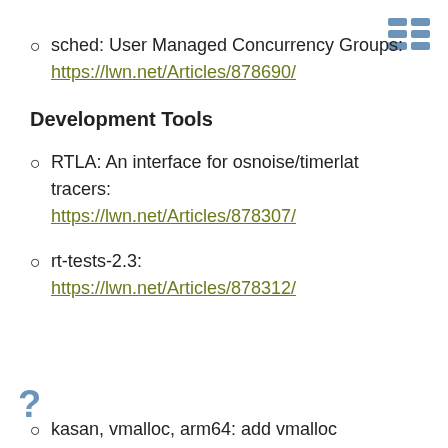sched: User Managed Concurrency Groups: https://lwn.net/Articles/878690/
Development Tools
RTLA: An interface for osnoise/timerlat tracers: https://lwn.net/Articles/878307/
rt-tests-2.3: https://lwn.net/Articles/878312/
kasan, vmalloc, arm64: add vmalloc